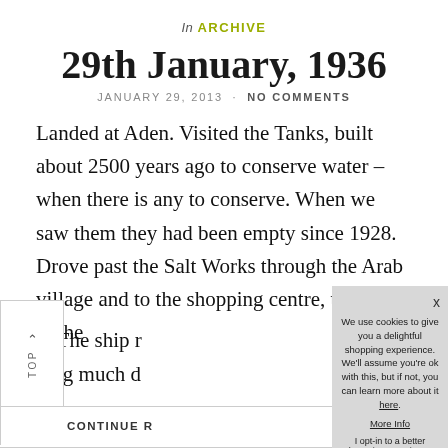In ARCHIVE
29th January, 1936
JANUARY 29, 2013 · NO COMMENTS
Landed at Aden. Visited the Tanks, built about 2500 years ago to conserve water – when there is any to conserve. When we saw them they had been empty since 1928. Drove past the Salt Works through the Arab village and to the shopping centre, then back to the [ship ro...] [thing much d...]
CONTINUE R[EADING]
We use cookies to give you a delightful shopping experience. We'll assume you're ok with this, but if not, you can learn more about it here.
More Info
I opt-in to a better browsing experience
ACCEPT COOKIES